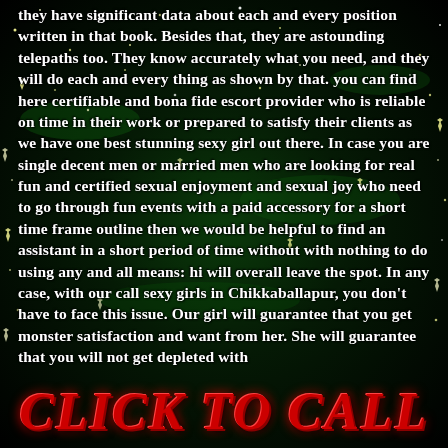they have significant data about each and every position written in that book. Besides that, they are astounding telepaths too. They know accurately what you need, and they will do each and everything as shown by that. you can find here certifiable and bona fide escort provider who is reliable on time in their work or prepared to satisfy their clients as we have one best stunning sexy girl out there. In case you are single decent men or married men who are looking for real fun and certified sexual enjoyment and sexual joy who need to go through fun events with a paid accessory for a short time frame outline then we would be helpful to find an assistant in a short period of time without with nothing to do using any and all means: hi will overall leave the spot. In any case, with our call sexy girls in Chikkaballapur, you don't have to face this issue. Our girl will guarantee that you get monster satisfaction and want from her. She will guarantee that you will not get depleted with
CLICK TO CALL